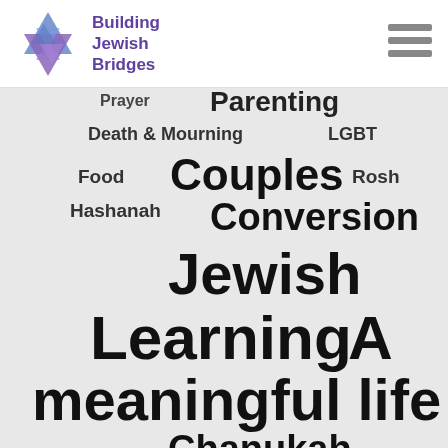[Figure (logo): Building Jewish Bridges logo with Star of David in blue/purple geometric style and text 'Building Jewish Bridges' in purple]
[Figure (infographic): Word cloud on grey background featuring Jewish topics in varying sizes: 'A meaningful life' largest, then 'Learning', 'Jewish', 'Community', 'Holidays', 'Conversion', 'Couples', 'Chanukah', 'Synagogues', 'Sukkot', 'Rosh Hashanah', 'Death & Mourning', 'LGBT', 'Food', 'Prayer', 'Parenting']